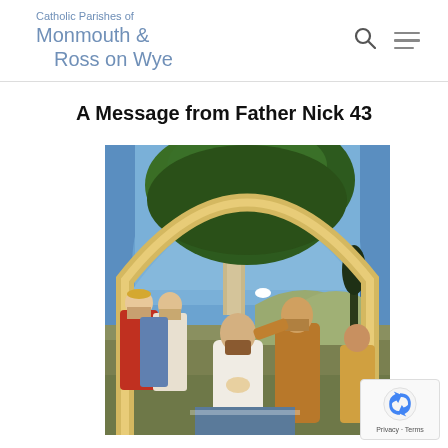Catholic Parishes of Monmouth & Ross on Wye
A Message from Father Nick 43
[Figure (photo): Religious painting (Baptism of Christ style) showing figures in classical style under an arch with a tree, blue sky, and a dove. Central figure in white with hands clasped, another figure to the right, and angel figures to the left.]
Privacy · Terms